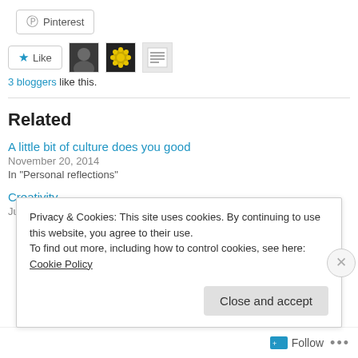[Figure (other): Pinterest share button with Pinterest logo icon]
[Figure (other): Like button with star icon and three blogger avatar thumbnails]
3 bloggers like this.
Related
A little bit of culture does you good
November 20, 2014
In "Personal reflections"
Creativity
June 26, 2018
Privacy & Cookies: This site uses cookies. By continuing to use this website, you agree to their use.
To find out more, including how to control cookies, see here: Cookie Policy
Close and accept
Follow ...